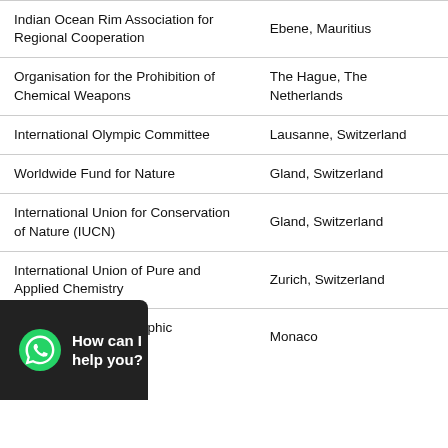| Organization | Location |
| --- | --- |
| Indian Ocean Rim Association for Regional Cooperation | Ebene, Mauritius |
| Organisation for the Prohibition of Chemical Weapons | The Hague, The Netherlands |
| International Olympic Committee | Lausanne, Switzerland |
| Worldwide Fund for Nature | Gland, Switzerland |
| International Union for Conservation of Nature (IUCN) | Gland, Switzerland |
| International Union of Pure and Applied Chemistry | Zurich, Switzerland |
| International Hydrographic Organization | Monaco |